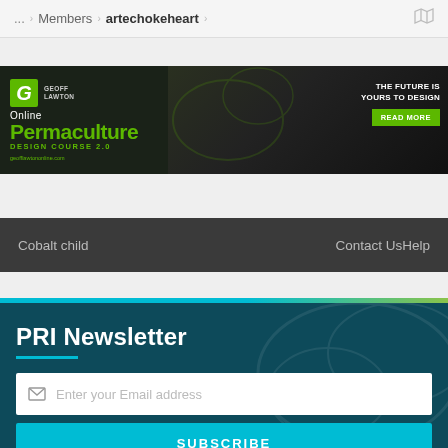... › Members › artechokeheart ›
[Figure (screenshot): Advertisement banner for Geoff Lawton Online Permaculture Design Course 2.0. Green and dark background with laptop and phone imagery. Text reads: Online Permaculture DESIGN COURSE 2.0, THE FUTURE IS YOURS TO DESIGN, READ MORE, geofflawtononline.com]
Cobalt child
Contact UsHelp
PRI Newsletter
Enter your Email address
SUBSCRIBE